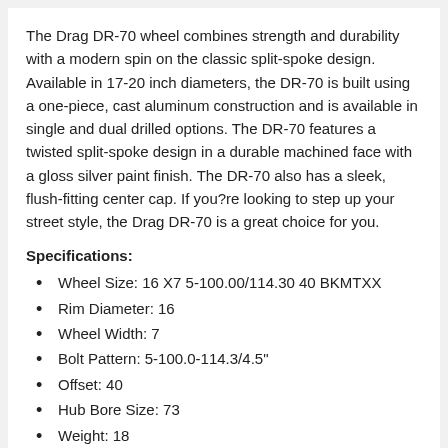The Drag DR-70 wheel combines strength and durability with a modern spin on the classic split-spoke design. Available in 17-20 inch diameters, the DR-70 is built using a one-piece, cast aluminum construction and is available in single and dual drilled options. The DR-70 features a twisted split-spoke design in a durable machined face with a gloss silver paint finish. The DR-70 also has a sleek, flush-fitting center cap. If you?re looking to step up your street style, the Drag DR-70 is a great choice for you.
Specifications:
Wheel Size: 16 X7 5-100.00/114.30 40 BKMTXX
Rim Diameter: 16
Wheel Width: 7
Bolt Pattern: 5-100.0-114.3/4.5"
Offset: 40
Hub Bore Size: 73
Weight: 18
Style & Construction:
Color: BK